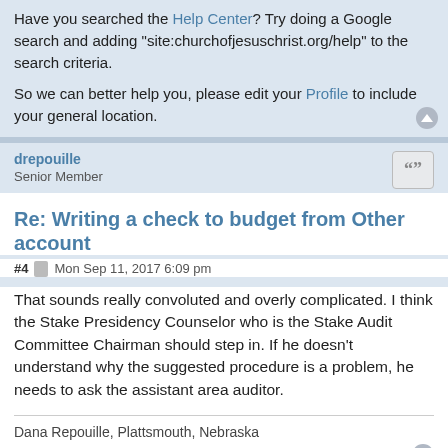Have you searched the Help Center? Try doing a Google search and adding "site:churchofjesuschrist.org/help" to the search criteria.

So we can better help you, please edit your Profile to include your general location.
drepouille
Senior Member
Re: Writing a check to budget from Other account
#4  Mon Sep 11, 2017 6:09 pm
That sounds really convoluted and overly complicated. I think the Stake Presidency Counselor who is the Stake Audit Committee Chairman should step in. If he doesn't understand why the suggested procedure is a problem, he needs to ask the assistant area auditor.
Dana Repouille, Plattsmouth, Nebraska
allenjpl
Member
Re: Writing a check to budget from Other account
#5  Tue Sep 12, 2017 12:47 pm